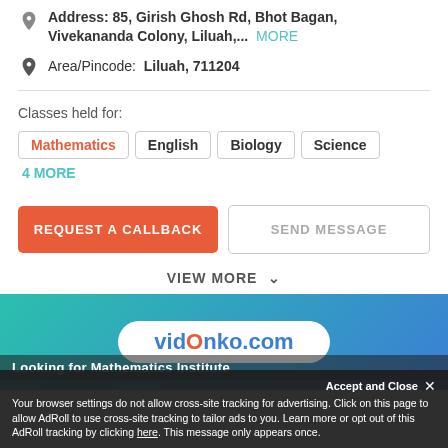Address: 85, Girish Ghosh Rd, Bhot Bagan, Vivekananda Colony, Liluah,... MORE
Area/Pincode: Liluah, 711204
Classes held for:
Mathematics
English
Biology
Science
4 MORE
REQUEST A CALLBACK
SEND MESSAGE
VIEW MORE
[Figure (logo): VidOnko.com logo on a teal-to-blue gradient banner]
Looking for Mathematics Institute
Accept and Close ×
Your browser settings do not allow cross-site tracking for advertising. Click on this page to allow AdRoll to use cross-site tracking to tailor ads to you. Learn more or opt out of this AdRoll tracking by clicking here. This message only appears once.